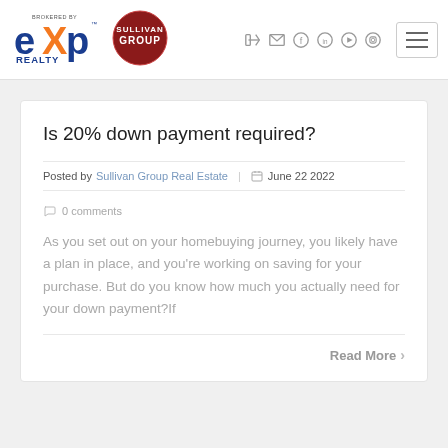eXp Realty - Brokered By | Sullivan Group
Is 20% down payment required?
Posted by Sullivan Group Real Estate  |  June 22 2022  |  0 comments
As you set out on your homebuying journey, you likely have a plan in place, and you're working on saving for your purchase. But do you know how much you actually need for your down payment?If
Read More >